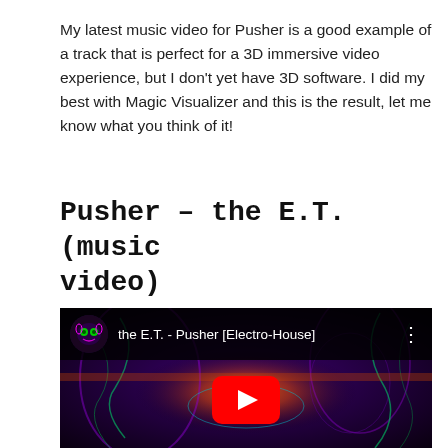My latest music video for Pusher is a good example of a track that is perfect for a 3D immersive video experience, but I don't yet have 3D software. I did my best with Magic Visualizer and this is the result, let me know what you think of it!
Pusher - the E.T. (music video)
[Figure (screenshot): Embedded YouTube video player showing 'the E.T. - Pusher [Electro-House]' with a psychedelic purple and green background, a channel avatar icon on the left, video title text, three-dot menu, and a red YouTube play button centered on the video.]